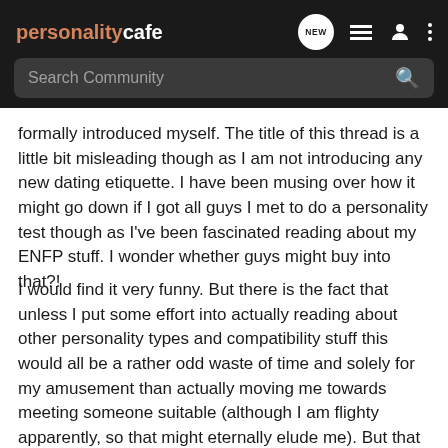personalitycafe
formally introduced myself. The title of this thread is a little bit misleading though as I am not introducing any new dating etiquette. I have been musing over how it might go down if I got all guys I met to do a personality test though as I've been fascinated reading about my ENFP stuff. I wonder whether guys might buy into that?!
I would find it very funny. But there is the fact that unless I put some effort into actually reading about other personality types and compatibility stuff this would all be a rather odd waste of time and solely for my amusement than actually moving me towards meeting someone suitable (although I am flighty apparently, so that might eternally elude me). But that aside I am genuinely considering my idea and would appreciate any thoughts.